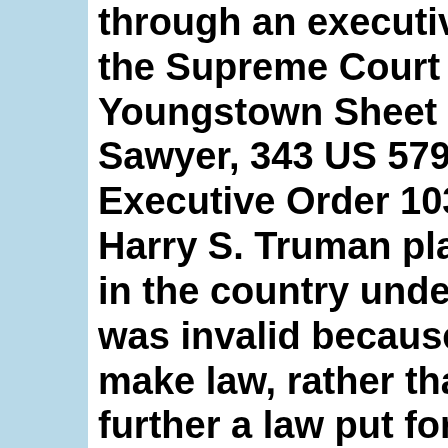through an executive order, the Supreme Court in Youngstown Sheet & Tube v. Sawyer, 343 US 579 (...), Executive Order 10340 from Harry S. Truman placing in the country under federal control was invalid because it attempted to make law, rather than claiming to further a law put forth by Congress or the Constitution. Pres...